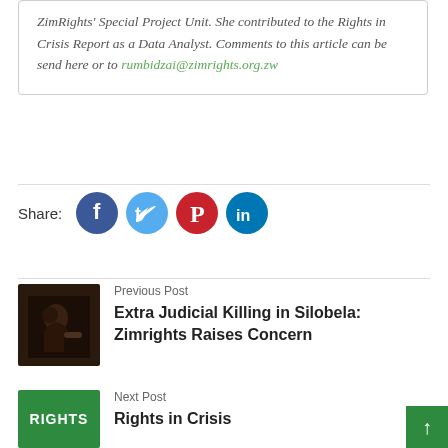ZimRights' Special Project Unit. She contributed to the Rights in Crisis Report as a Data Analyst. Comments to this article can be send here or to rumbidzai@zimrights.org.zw
[Figure (infographic): Social share icons row: Facebook (dark blue circle), Twitter (light blue circle), Pinterest (red circle), LinkedIn (teal circle)]
Previous Post
[Figure (photo): Dark silhouette photo of a person holding a gun, brown/sepia tone]
Extra Judicial Killing in Silobela: Zimrights Raises Concern
Next Post
[Figure (logo): Green box with white bold text RIGHTS]
Rights in Crisis